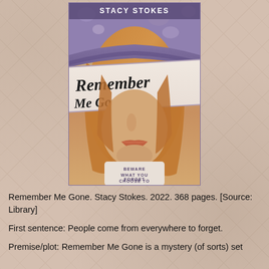[Figure (illustration): Book cover of 'Remember Me Gone' by Stacy Stokes. Shows a young woman with long reddish-brown hair, face partially obscured by a hat brim. Title in handwritten-style font across the middle. Tagline reads 'BEWARE WHAT YOU CHOOSE TO FORGET'.]
Remember Me Gone. Stacy Stokes. 2022. 368 pages. [Source: Library]
First sentence: People come from everywhere to forget.
Premise/plot: Remember Me Gone is a mystery (of sorts) set